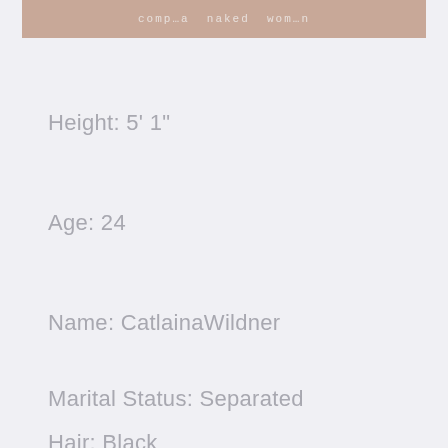[Figure (photo): Partially visible photo of a person, blurred/censored with overlaid text label]
Height: 5' 1"
Age: 24
Name: CatlainaWildner
Marital Status: Separated
Hair: Black